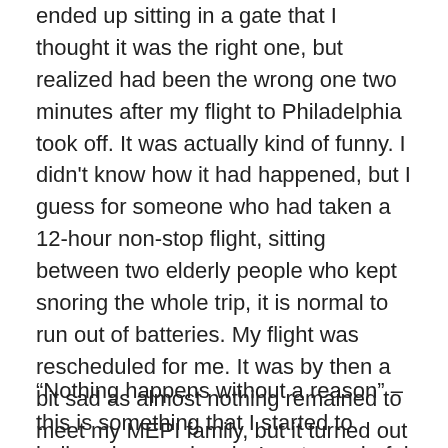ended up sitting in a gate that I thought it was the right one, but realized had been the wrong one two minutes after my flight to Philadelphia took off. It was actually kind of funny. I didn't know how it had happened, but I guess for someone who had taken a 12-hour non-stop flight, sitting between two elderly people who kept snoring the whole trip, it is normal to run out of batteries. My flight was rescheduled for me. It was by then a bit sad as almost nothing remained to meet my MEPI family, but it turned out to require four more hours of waiting. Then I cried like a baby until I fell asleep, only to wake up just as my flight started boarding and return to the same excitement I had before.
“Nothing happens without a reason” – this is something that I started to believe in very deeply. I met wonderful